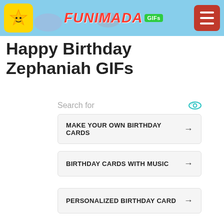FUNIMADA GIFs
Happy Birthday Zephaniah GIFs
Search for
MAKE YOUR OWN BIRTHDAY CARDS
BIRTHDAY CARDS WITH MUSIC
PERSONALIZED BIRTHDAY CARD
BEST BIRTHDAY CARD MESSAGES
FREE BIRTHDAY ECARDS
Ad | Business Focus